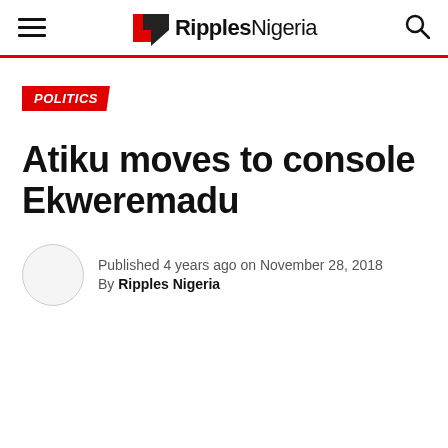Ripples Nigeria
POLITICS
Atiku moves to console Ekweremadu
Published 4 years ago on November 28, 2018
By Ripples Nigeria